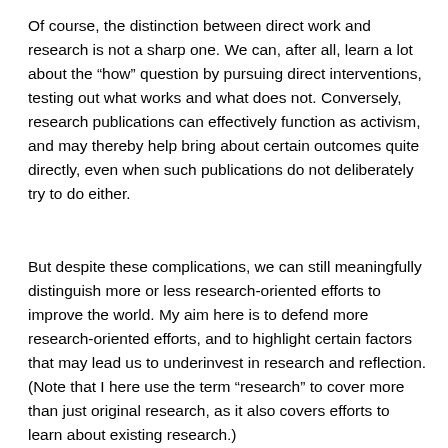Of course, the distinction between direct work and research is not a sharp one. We can, after all, learn a lot about the “how” question by pursuing direct interventions, testing out what works and what does not. Conversely, research publications can effectively function as activism, and may thereby help bring about certain outcomes quite directly, even when such publications do not deliberately try to do either.
But despite these complications, we can still meaningfully distinguish more or less research-oriented efforts to improve the world. My aim here is to defend more research-oriented efforts, and to highlight certain factors that may lead us to underinvest in research and reflection. (Note that I here use the term “research” to cover more than just original research, as it also covers efforts to learn about existing research.)